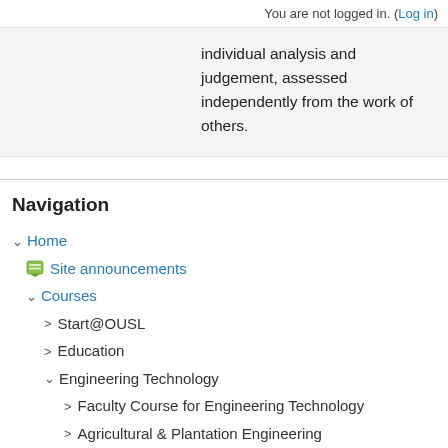You are not logged in. (Log in)
individual analysis and judgement, assessed independently from the work of others.
Navigation
∨ Home
Site announcements
∨ Courses
> Start@OUSL
> Education
∨ Engineering Technology
> Faculty Course for Engineering Technology
> Agricultural & Plantation Engineering